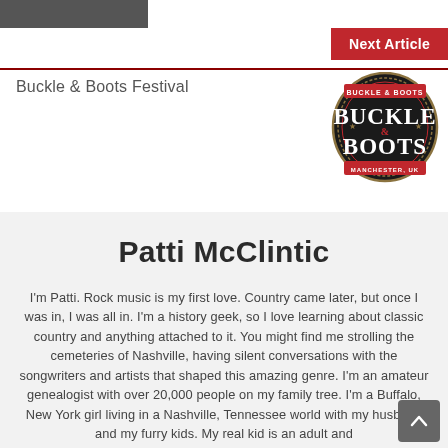[Figure (photo): Partial photo of a person at top left corner]
Next Article
Buckle & Boots Festival
[Figure (logo): Buckle & Boots Festival logo — ornate western-style badge with text 'BUCKLE & BOOTS, MANCHESTER, UK']
Patti McClintic
I'm Patti. Rock music is my first love. Country came later, but once I was in, I was all in. I'm a history geek, so I love learning about classic country and anything attached to it. You might find me strolling the cemeteries of Nashville, having silent conversations with the songwriters and artists that shaped this amazing genre. I'm an amateur genealogist with over 20,000 people on my family tree. I'm a Buffalo, New York girl living in a Nashville, Tennessee world with my husband and my furry kids. My real kid is an adult and